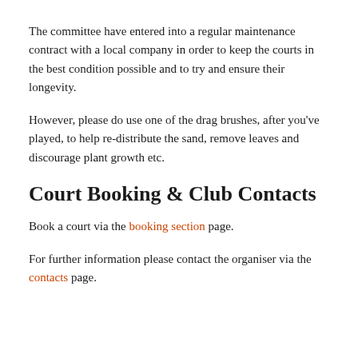The committee have entered into a regular maintenance contract with a local company in order to keep the courts in the best condition possible and to try and ensure their longevity.
However, please do use one of the drag brushes, after you've played, to help re-distribute the sand, remove leaves and discourage plant growth etc.
Court Booking & Club Contacts
Book a court via the booking section page.
For further information please contact the organiser via the contacts page.